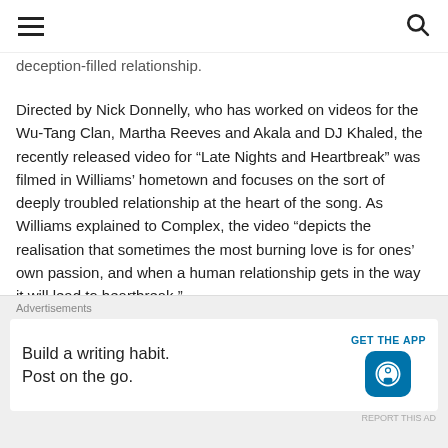Navigation bar with hamburger menu and search icon
deception-filled relationship.
Directed by Nick Donnelly, who has worked on videos for the Wu-Tang Clan, Martha Reeves and Akala and DJ Khaled, the recently released video for “Late Nights and Heartbreak” was filmed in Williams’ hometown and focuses on the sort of deeply troubled relationship at the heart of the song. As Williams explained to Complex, the video “depicts the realisation that sometimes the most burning love is for ones’ own passion, and when a human relationship gets in the way it will lead to heartbreak.”
[Figure (infographic): Social share buttons: Pinterest and More]
[Figure (infographic): Thumbnail row with like button placeholder and dark image thumbnail]
Advertisements | Build a writing habit. Post on the go. | GET THE APP | WordPress logo